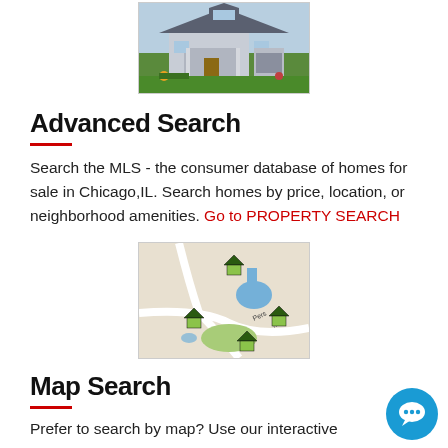[Figure (photo): Photo of a suburban house with green lawn and landscaping]
Advanced Search
Search the MLS - the consumer database of homes for sale in Chicago,IL. Search homes by price, location, or neighborhood amenities. Go to PROPERTY SEARCH
[Figure (map): Map image showing neighborhood with house icons and green areas]
Map Search
Prefer to search by map? Use our interactive map sea